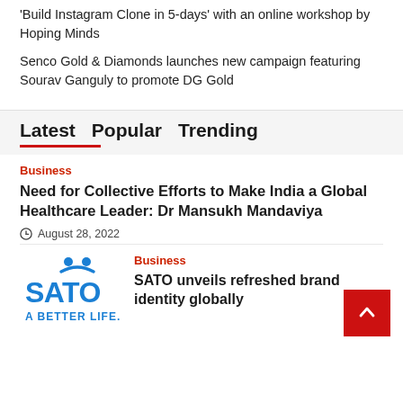'Build Instagram Clone in 5-days' with an online workshop by Hoping Minds
Senco Gold & Diamonds launches new campaign featuring Sourav Ganguly to promote DG Gold
Latest  Popular  Trending
Business
Need for Collective Efforts to Make India a Global Healthcare Leader: Dr Mansukh Mandaviya
August 28, 2022
[Figure (logo): SATO logo with blue text reading 'SATO' and tagline 'A BETTER LIFE.']
Business
SATO unveils refreshed brand identity globally